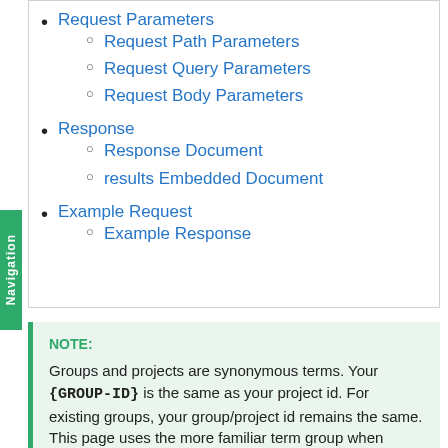Request Parameters
Request Path Parameters
Request Query Parameters
Request Body Parameters
Response
Response Document
results Embedded Document
Example Request
Example Response
NOTE: Groups and projects are synonymous terms. Your {GROUP-ID} is the same as your project id. For existing groups, your group/project id remains the same. This page uses the more familiar term group when referring to descriptions. The endpoint remains as stated in the document.